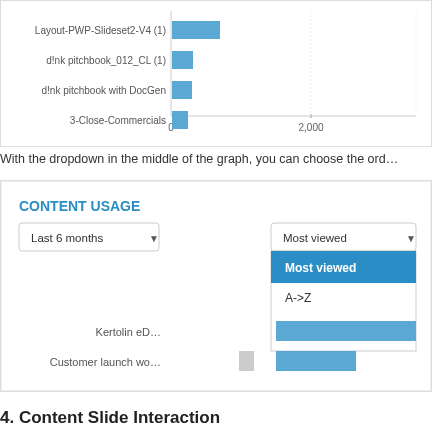[Figure (bar-chart): Content Usage (partial)]
With the dropdown in the middle of the graph, you can choose the order...
[Figure (screenshot): Screenshot of Content Usage panel showing dropdown with options: Most viewed, A->Z, Z->A. Bar chart partially visible with items Kertolin eD... and Customer launch wo...]
4. Content Slide Interaction